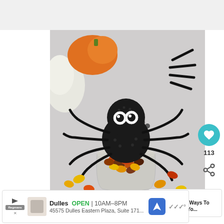[Figure (photo): A Halloween craft spider made from black pom-poms with googly eyes, sitting on top of a small clear plastic cup filled with Reese's Pieces candy. The spider has black pipe cleaner legs. Orange and yellow candies are scattered on a light gray surface around it. Background shows a pumpkin and white gauze material.]
[Figure (infographic): Heart/like button (teal circle with white heart icon) with count '113' below it, and a share button below that.]
WHAT'S NEXT → Simple Ways To Better Yo...
Dulles  OPEN | 10AM–8PM  45575 Dulles Eastern Plaza, Suite 171...